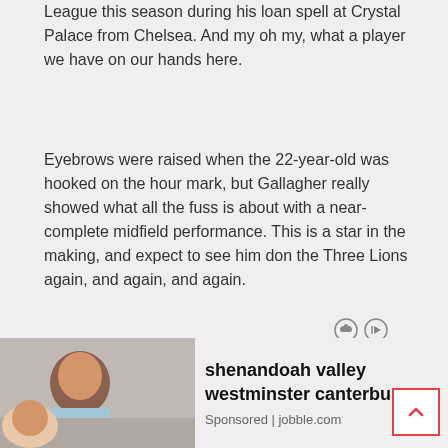League this season during his loan spell at Crystal Palace from Chelsea. And my oh my, what a player we have on our hands here.
Eyebrows were raised when the 22-year-old was hooked on the hour mark, but Gallagher really showed what all the fuss is about with a near-complete midfield performance. This is a star in the making, and expect to see him don the Three Lions again, and again, and again.
[Figure (infographic): Ad indicator icons: a spy/incognito icon and a play/forward icon]
[Figure (infographic): Advertisement banner with image of a woman smiling, text reading 'shenandoah valley westminster canterbury...' sponsored by jobble.com]